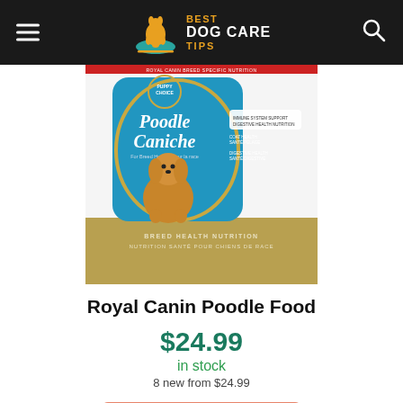Best Dog Care Tips
[Figure (photo): Royal Canin Poodle Caniche Puppy Choice dog food bag featuring a poodle puppy on the front, teal and gold packaging with BREED HEALTH NUTRITION text]
Royal Canin Poodle Food
$24.99
in stock
8 new from $24.99
Buy on Amazon